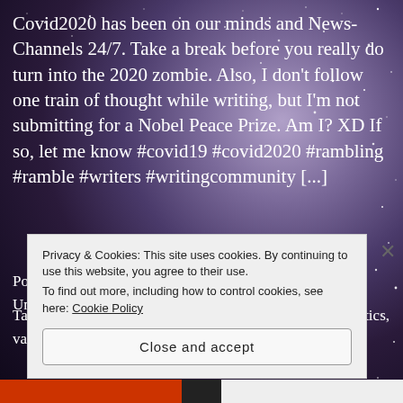Covid2020 has been on our minds and News-Channels 24/7. Take a break before you really do turn into the 2020 zombie. Also, I don't follow one train of thought while writing, but I'm not submitting for a Nobel Peace Prize. Am I? XD If so, let me know #covid19 #covid2020 #rambling #ramble #writers #writingcommunity [...]
Posted in Articles, bored, humor, Rants & Raves, Uncategorized
Tagged covid19, covid202, education, homelessness, politics, vaccine
Privacy & Cookies: This site uses cookies. By continuing to use this website, you agree to their use.
To find out more, including how to control cookies, see here: Cookie Policy
Close and accept